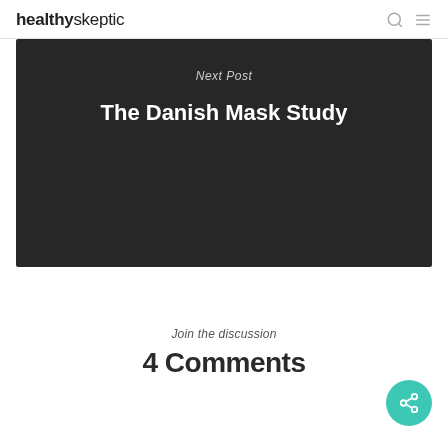healthyskeptic
[Figure (screenshot): Dark card with label 'Next Post' and title 'The Danish Mask Study']
Join the discussion
4 Comments